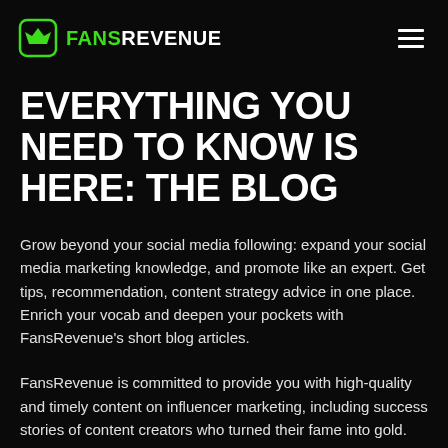FANSREVENUE
EVERYTHING YOU NEED TO KNOW IS HERE: THE BLOG
Grow beyond your social media following: expand your social media marketing knowledge, and promote like an expert. Get tips, recommendation, content strategy advice in one place. Enrich your vocab and deepen your pockets with FansRevenue's short blog articles.
FansRevenue is committed to provide you with high-quality and timely content on influencer marketing, including success stories of content creators who turned their fame into gold.